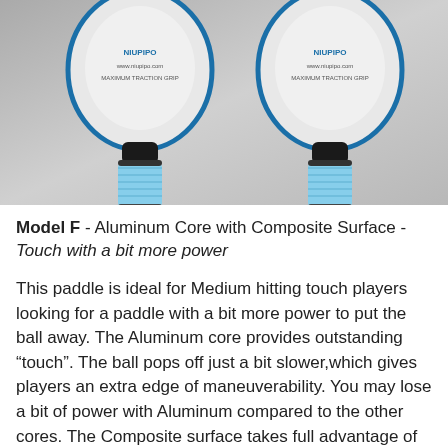[Figure (photo): Two pickleball paddles with light blue grips shown side by side against a gray gradient background. Both paddles have blue edges and feature the paddle face with branding/logo visible.]
Model F - Aluminum Core with Composite Surface - Touch with a bit more power
This paddle is ideal for Medium hitting touch players looking for a paddle with a bit more power to put the ball away. The Aluminum core provides outstanding “touch”. The ball pops off just a bit slower,which gives players an extra edge of maneuverability. You may lose a bit of power with Aluminum compared to the other cores. The Composite surface takes full advantage of the latest aerospace materials composite technology, featuring an incredible combination of touch, feel,